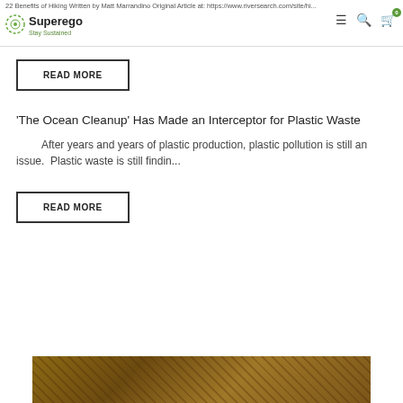22 Benefits of Hiking Written by Matt Marrandino Original Article at: https://www.riversearch.com/site/hi... | Superego Stay Sustained
READ MORE
'The Ocean Cleanup' Has Made an Interceptor for Plastic Waste
After years and years of plastic production, plastic pollution is still an issue. Plastic waste is still findin...
READ MORE
[Figure (photo): Bottom portion of a nature/outdoor photo with warm brown tones, partially visible]